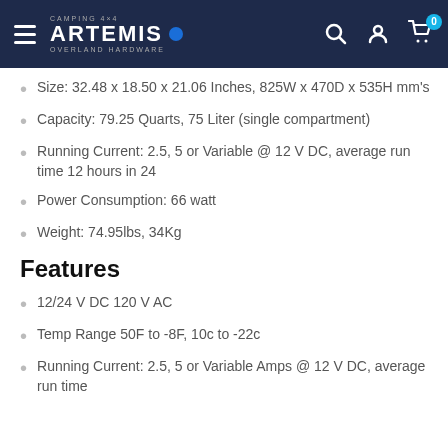Artemis Camping 4x4 Overland Hardware
Size: 32.48 x 18.50 x 21.06 Inches, 825W x 470D x 535H mm's
Capacity: 79.25 Quarts, 75 Liter (single compartment)
Running Current: 2.5, 5 or Variable @ 12 V DC, average run time 12 hours in 24
Power Consumption: 66 watt
Weight: 74.95lbs, 34Kg
Features
12/24 V DC 120 V AC
Temp Range 50F to -8F, 10c to -22c
Running Current: 2.5, 5 or Variable Amps @ 12 V DC, average run time 12 hours in 24